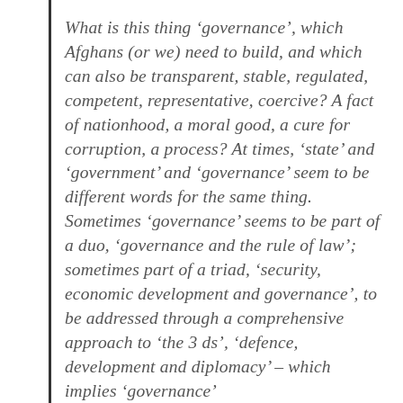What is this thing 'governance', which Afghans (or we) need to build, and which can also be transparent, stable, regulated, competent, representative, coercive? A fact of nationhood, a moral good, a cure for corruption, a process? At times, 'state' and 'government' and 'governance' seem to be different words for the same thing. Sometimes 'governance' seems to be part of a duo, 'governance and the rule of law'; sometimes part of a triad, 'security, economic development and governance', to be addressed through a comprehensive approach to 'the 3 ds', 'defence, development and diplomacy' – which implies 'governance'